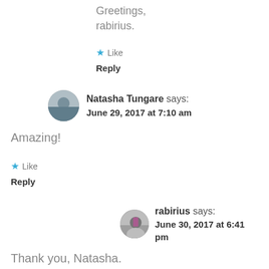Greetings,
rabirius.
★ Like
Reply
Natasha Tungare says: June 29, 2017 at 7:10 am
Amazing!
★ Like
Reply
rabirius says: June 30, 2017 at 6:41 pm
Thank you, Natasha.